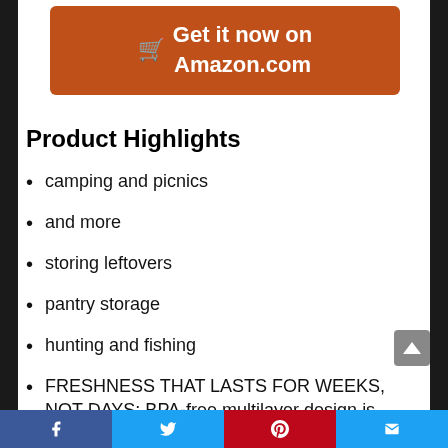[Figure (other): Orange Amazon buy button with shopping cart icon and text 'Get it now on Amazon.com']
Product Highlights
camping and picnics
and more
storing leftovers
pantry storage
hunting and fishing
FRESHNESS THAT LASTS FOR WEEKS, NOT DAYS: BPA-free multilayer design is constructed of durable yet pliable material that
Facebook  Twitter  Pinterest  Email